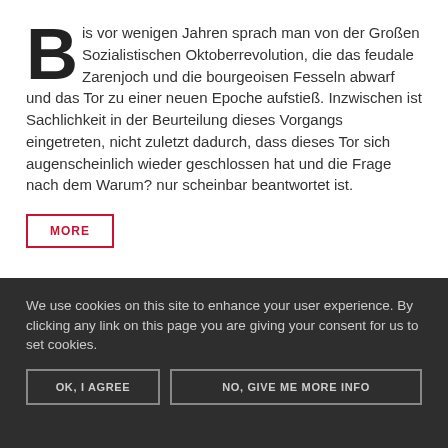Bis vor wenigen Jahren sprach man von der Großen Sozialistischen Oktoberrevolution, die das feudale Zarenjoch und die bourgeoisen Fesseln abwarf und das Tor zu einer neuen Epoche aufstieß. Inzwischen ist Sachlichkeit in der Beurteilung dieses Vorgangs eingetreten, nicht zuletzt dadurch, dass dieses Tor sich augenscheinlich wieder geschlossen hat und die Frage nach dem Warum? nur scheinbar beantwortet ist.
MORE
We use cookies on this site to enhance your user experience. By clicking any link on this page you are giving your consent for us to set cookies.
OK, I AGREE
NO, GIVE ME MORE INFO